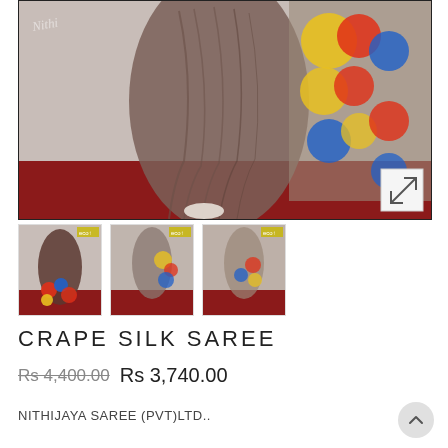[Figure (photo): Main product photo of a brown crape silk saree with multicolor print (red, yellow, blue circular patterns) draped on a mannequin against a white background with red carpet floor. A watermark reading 'Nithijaya' is visible. An expand/fullscreen icon button is in the bottom right corner.]
[Figure (photo): Thumbnail 1: Front view of the saree showing colorful print detail]
[Figure (photo): Thumbnail 2: Side/drape view of the saree in brownish-gray tone]
[Figure (photo): Thumbnail 3: Another view of the saree showing drape]
CRAPE SILK SAREE
Rs 4,400.00 Rs 3,740.00
NITHIJAYA SAREE (PVT)LTD..